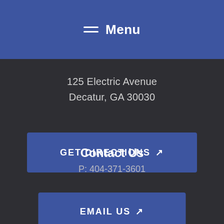Menu
125 Electric Avenue
Decatur, GA 30030
GET DIRECTIONS ↗
Contact Us
P: 404-371-3601
EMAIL US ↗